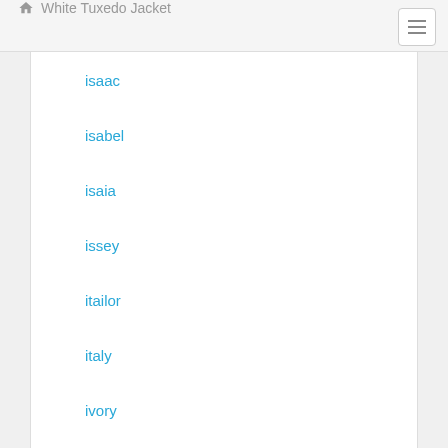White Tuxedo Jacket
isaac
isabel
isaia
issey
itailor
italy
ivory
jack
jacket
jackets